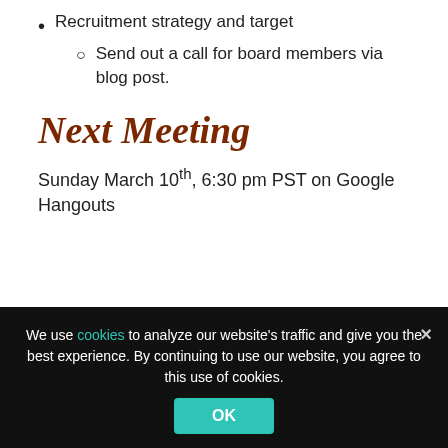Recruitment strategy and target
Send out a call for board members via blog post.
Next Meeting
Sunday March 10th, 6:30 pm PST on Google Hangouts
About Zimfest
Contact Zimfest
Applicant Information
Past Festivals
Links
Support Zimfest
We use cookies to analyze our website’s traffic and give you the best experience. By continuing to use our website, you agree to this use of cookies.